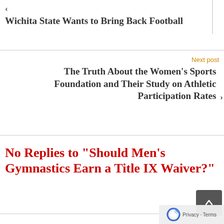< Wichita State Wants to Bring Back Football
Next post
The Truth About the Women's Sports Foundation and Their Study on Athletic Participation Rates
No Replies to "Should Men's Gymnastics Earn a Title IX Waiver?"